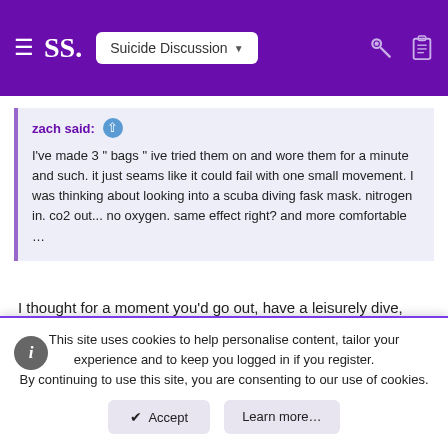SS. Suicide Discussion
zach said: ↑

I've made 3 " bags " ive tried them on and wore them for a minute and such. it just seams like it could fail with one small movement. I was thinking about looking into a scuba diving fask mask. nitrogen in. co2 out... no oxygen. same effect right? and more comfortable …
I thought for a moment you'd go out, have a leisurely dive, then let narcosis get to you. Lots of planning involved in that plan, lolol.
HannibalLector
Student
This site uses cookies to help personalise content, tailor your experience and to keep you logged in if you register.
By continuing to use this site, you are consenting to our use of cookies.